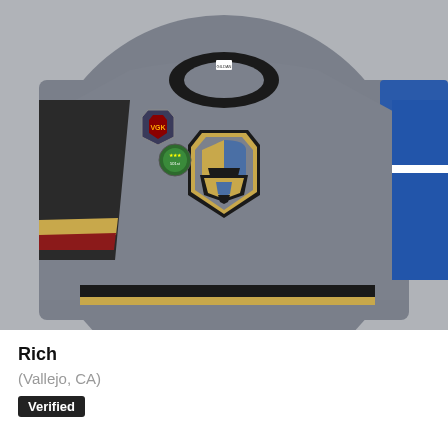[Figure (photo): A gray hockey-style jersey laid flat on a surface. The jersey features a Mandalorian helmet logo styled like the Vegas Golden Knights shield on the chest, with gold/tan, blue, and black colors. There are two patches on the left chest area. The jersey has black collar, black and gold striped sleeve accent on the left, and gold/black stripes along the bottom hem. A blue jersey is partially visible on the right side.]
Rich
(Vallejo, CA)
Verified